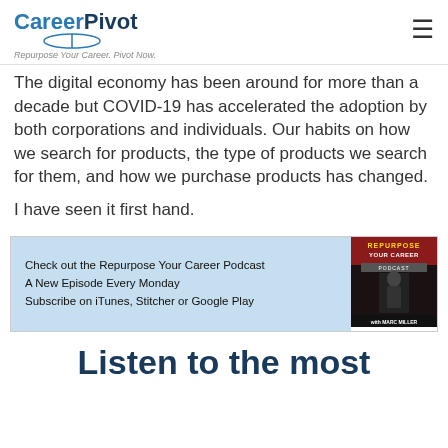CareerPivot — Repurpose Your Career. Pivot Now.
The digital economy has been around for more than a decade but COVID-19 has accelerated the adoption by both corporations and individuals. Our habits on how we search for products, the type of products we search for them, and how we purchase products has changed.
I have seen it first hand.
[Figure (infographic): Podcast advertisement box with light blue background on left reading: Check out the Repurpose Your Career Podcast, A New Episode Every Monday, Subscribe on iTunes, Stitcher or Google Play. On the right is the podcast cover art with text REPURPOSE YOUR CAREER PODCAST with MARC MILLER.]
Listen to the most